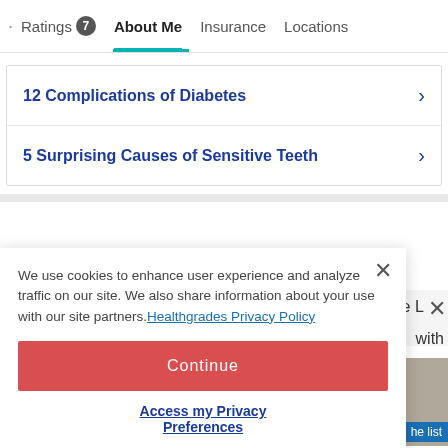· Ratings 7  About Me  Insurance  Locations
12 Complications of Diabetes
5 Surprising Causes of Sensitive Teeth
We use cookies to enhance user experience and analyze traffic on our site. We also share information about your use with our site partners. Healthgrades Privacy Policy
Continue
Access my Privacy Preferences